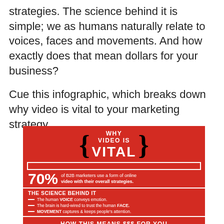strategies. The science behind it is simple; we as humans naturally relate to voices, faces and movements. And how exactly does that mean dollars for your business?
Cue this infographic, which breaks down why video is vital to your marketing strategy.
[Figure (infographic): Infographic titled 'WHY VIDEO IS VITAL' on a red background. States '70% of B2B marketers use a form of online video with their overall strategies.' Section 'THE SCIENCE BEHIND IT' lists: The human VOICE conveys emotion. The brain is hard-wired to trust the human FACE. MOVEMENT captures & keeps people's attention. Bottom bar: HOW THIS MEANS $$$ FOR YOU]